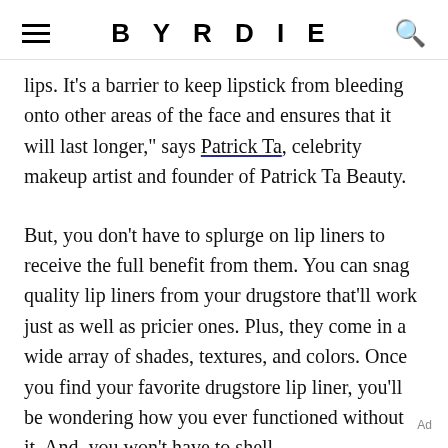BYRDIE
lips. It's a barrier to keep lipstick from bleeding onto other areas of the face and ensures that it will last longer," says Patrick Ta, celebrity makeup artist and founder of Patrick Ta Beauty.
But, you don't have to splurge on lip liners to receive the full benefit from them. You can snag quality lip liners from your drugstore that'll work just as well as pricier ones. Plus, they come in a wide array of shades, textures, and colors. Once you find your favorite drugstore lip liner, you'll be wondering how you ever functioned without it. And, you won't have to shell
Ad